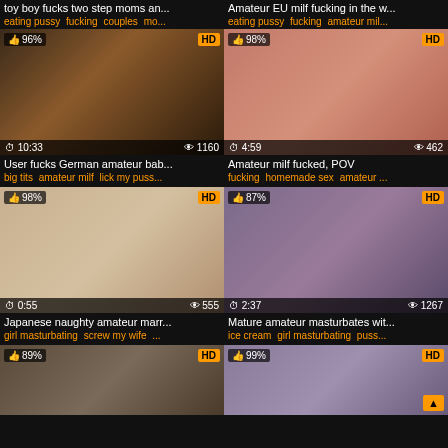[Figure (screenshot): Video thumbnail grid showing adult content video thumbnails with titles, tags, duration, view counts, and HD badges]
toy boy fucks two step moms an...
eating pussy fucking couples mo...
Amateur EU milf fucking in the w...
eating pussy fucking amateur mil...
User fucks German amateur bab...
big tits amateur milf lick my puss...
Amateur milf fucked, POV
fucking homemade sex amateur ...
Japanese naughty amateur marr...
girl masturbating screw my wife ...
Mature amateur masturbates wit...
ice cream girl masturbating puss...